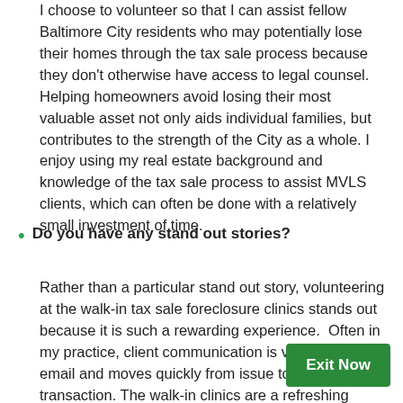I choose to volunteer so that I can assist fellow Baltimore City residents who may potentially lose their homes through the tax sale process because they don't otherwise have access to legal counsel. Helping homeowners avoid losing their most valuable asset not only aids individual families, but contributes to the strength of the City as a whole. I enjoy using my real estate background and knowledge of the tax sale process to assist MVLS clients, which can often be done with a relatively small investment of time.
Do you have any stand out stories?
Rather than a particular stand out story, volunteering at the walk-in tax sale foreclosure clinics stands out because it is such a rewarding experience.  Often in my practice, client communication is via phone and email and moves quickly from issue to issue and the transaction. The walk-in clinics are a refreshing break